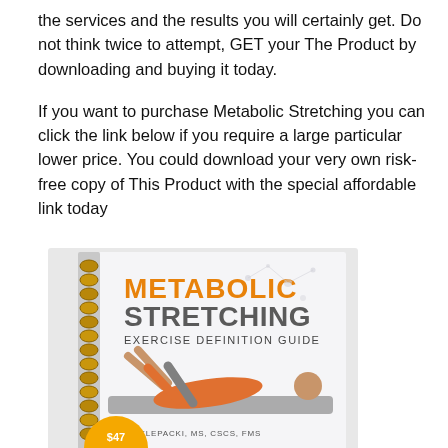the services and the results you will certainly get. Do not think twice to attempt, GET your The Product by downloading and buying it today.
If you want to purchase Metabolic Stretching you can click the link below if you require a large particular lower price. You could download your very own risk-free copy of This Product with the special affordable link today
[Figure (illustration): Book cover of 'Metabolic Stretching Exercise Definition Guide' by AN KLEPACKI, MS, CSCS, FMS, showing a spiral-bound guide with a person lying on a mat doing stretching exercises. Cover has orange and gray typography and a price badge showing $47.]